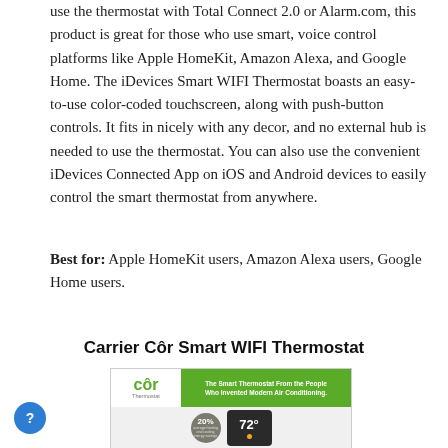use the thermostat with Total Connect 2.0 or Alarm.com, this product is great for those who use smart, voice control platforms like Apple HomeKit, Amazon Alexa, and Google Home. The iDevices Smart WIFI Thermostat boasts an easy-to-use color-coded touchscreen, along with push-button controls. It fits in nicely with any decor, and no external hub is needed to use the thermostat. You can also use the convenient iDevices Connected App on iOS and Android devices to easily control the smart thermostat from anywhere.
Best for: Apple HomeKit users, Amazon Alexa users, Google Home users.
Carrier Côr Smart WIFI Thermostat
[Figure (photo): Product packaging image of the Carrier Côr Smart WIFI Thermostat showing the green Côr Thermostat logo on the left, a green banner reading 'The Smart Thermostat From the People Who Invented Modern Air Conditioning.' and below: a circular grey badge showing '20%' with small text about energy savings, and a dark thermostat device displaying temperature 72 with an orange dot indicator.]